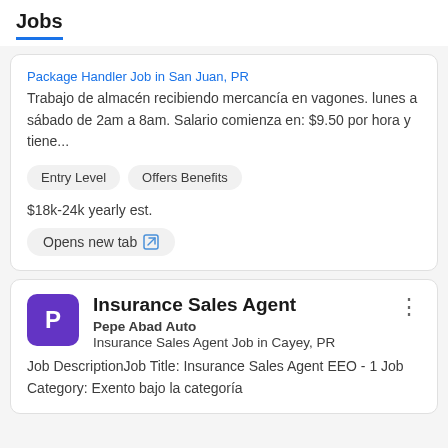Jobs
Package Handler Job in San Juan, PR
Trabajo de almacén recibiendo mercancía en vagones. lunes a sábado de 2am a 8am. Salario comienza en: $9.50 por hora y tiene...
Entry Level
Offers Benefits
$18k-24k yearly est.
Opens new tab
Insurance Sales Agent
Pepe Abad Auto
Insurance Sales Agent Job in Cayey, PR
Job DescriptionJob Title: Insurance Sales Agent EEO - 1 Job Category: Exento bajo la categoría